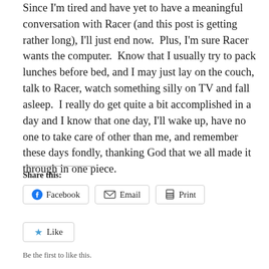Since I'm tired and have yet to have a meaningful conversation with Racer (and this post is getting rather long), I'll just end now.  Plus, I'm sure Racer wants the computer.  Know that I usually try to pack lunches before bed, and I may just lay on the couch, talk to Racer, watch something silly on TV and fall asleep.  I really do get quite a bit accomplished in a day and I know that one day, I'll wake up, have no one to take care of other than me, and remember these days fondly, thanking God that we all made it through in one piece.
Share this:
Facebook  Email  Print
Like
Be the first to like this.